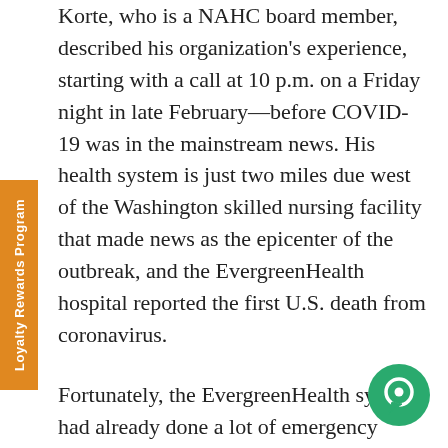Korte, who is a NAHC board member, described his organization's experience, starting with a call at 10 p.m. on a Friday night in late February—before COVID-19 was in the mainstream news. His health system is just two miles due west of the Washington skilled nursing facility that made news as the epicenter of the outbreak, and the EvergreenHealth hospital reported the first U.S. death from coronavirus.
Fortunately, the EvergreenHealth system had already done a lot of emergency planning and incident command rehearsal, in part because it's in an earthquake zone. In the earliest days, he said, most of the senior team was
[Figure (illustration): Green circular chat/messenger icon button in bottom-right corner]